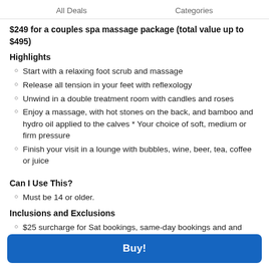All Deals    Categories
$249 for a couples spa massage package (total value up to $495)
Highlights
Start with a relaxing foot scrub and massage
Release all tension in your feet with reflexology
Unwind in a double treatment room with candles and roses
Enjoy a massage, with hot stones on the back, and bamboo and hydro oil applied to the calves * Your choice of soft, medium or firm pressure
Finish your visit in a lounge with bubbles, wine, beer, tea, coffee or juice
Can I Use This?
Must be 14 or older.
Inclusions and Exclusions
$25 surcharge for Sat bookings, same-day bookings and and appointments after 5pm (Mon-Fri) – payable per person; on the